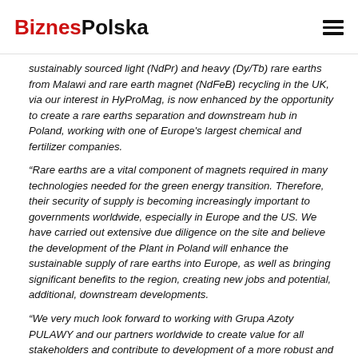BiznesPolska
sustainably sourced light (NdPr) and heavy (Dy/Tb) rare earths from Malawi and rare earth magnet (NdFeB) recycling in the UK, via our interest in HyProMag, is now enhanced by the opportunity to create a rare earths separation and downstream hub in Poland, working with one of Europe's largest chemical and fertilizer companies.
“Rare earths are a vital component of magnets required in many technologies needed for the green energy transition. Therefore, their security of supply is becoming increasingly important to governments worldwide, especially in Europe and the US. We have carried out extensive due diligence on the site and believe the development of the Plant in Poland will enhance the sustainable supply of rare earths into Europe, as well as bringing significant benefits to the region, creating new jobs and potential, additional, downstream developments.
“We very much look forward to working with Grupa Azoty PULAWY and our partners worldwide to create value for all stakeholders and contribute to development of a more robust and sustainable rare earths supply chain.”